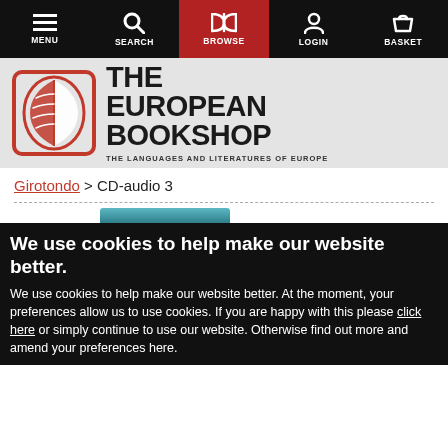MENU | SEARCH | BROWSE | LOGIN | BASKET
[Figure (logo): The European Bookshop logo with open book icon and text 'THE EUROPEAN BOOKSHOP - THE LANGUAGES AND LITERATURES OF EUROPE']
Girotondo > CD-audio 3
We use cookies to help make our website better.
We use cookies to help make our website better. At the moment, your preferences allow us to use cookies. If you are happy with this please click here or simply continue to use our website. Otherwise find out more and amend your preferences here.